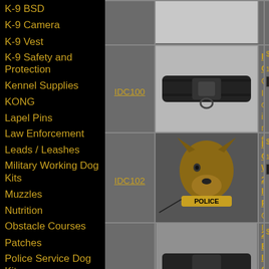K-9 BSD
K-9 Camera
K-9 Vest
K-9 Safety and Protection
Kennel Supplies
KONG
Lapel Pins
Law Enforcement
Leads / Leashes
Military Working Dog Kits
Muzzles
Nutrition
Obstacle Courses
Patches
Police Service Dog Kits
| Item# | Image | Description | Price |
| --- | --- | --- | --- |
| IDC100 | [collar image] | ID Collar
Our ID collar is made from 2" mil-spec Nylon. | $ |
| IDC102 | [dog with collar image] | ID Collar W/ 2 ID Panels
Our ID collar is made from 2" mil-spec Nylon. | $ |
|  | [partial image] | 2" Black ID Collar with metal Cobra® buckle | $ |